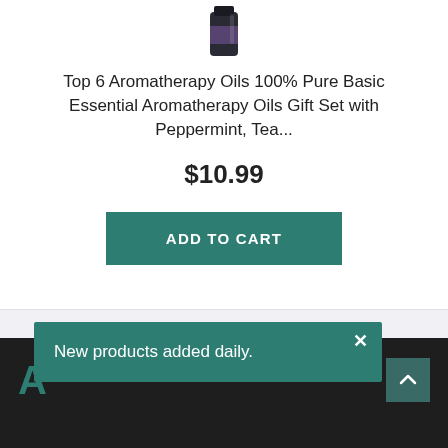[Figure (photo): Partial view of a dark essential oil bottle at the top of the product card]
Top 6 Aromatherapy Oils 100% Pure Basic Essential Aromatherapy Oils Gift Set with Peppermint, Tea...
$10.99
ADD TO CART
A
New products added daily.